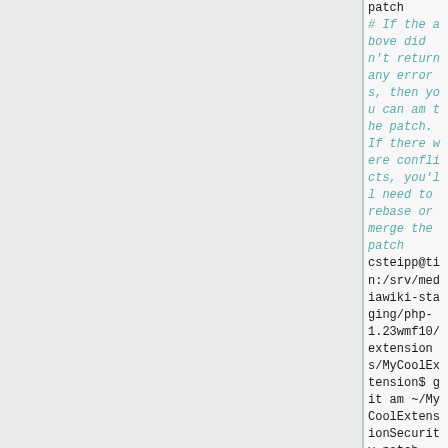patch
# If the above didn't return any errors, then you can am the patch. If there were conflicts, you'll need to rebase or merge the patch
csteipp@tin:/srv/mediawiki-staging/php-1.23wmf10/extensions/MyCoolExtension$ git am ~/MyCoolExtensionSecurity.patch
# Security patch should now be applied. Check that it shows up at the top of the log with:
csteipp@tin:/srv/mediawiki-staging/php-1.23wmf10/extensions/MyCoolExtension$ git log --oneline -5
905e1c2 SECURITY: Fix some bad stuff
c672d43 Some feature